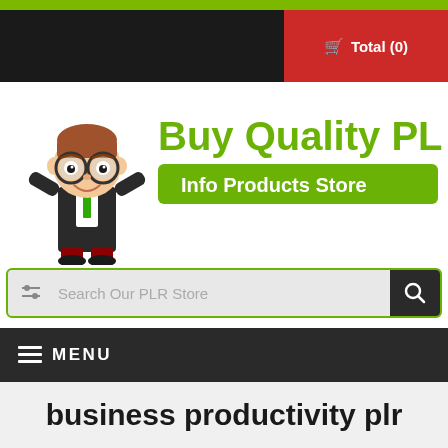Total (0)
[Figure (logo): Buy Quality PLR Info Products Store logo with cartoon mascot character wearing glasses and business suit]
Search Our PLR Store
MENU
business productivity plr
[Figure (photo): Product image showing stacked books or notebooks with dark covers]